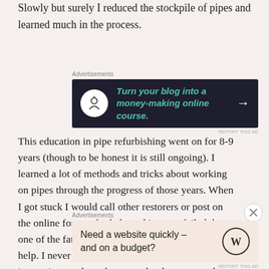Slowly but surely I reduced the stockpile of pipes and learned much in the process.
[Figure (screenshot): Dark advertisement banner: 'Turn your blog into a money-making online course.' with bonsai tree icon and arrow]
This education in pipe refurbishing went on for 8-9 years (though to be honest it is still ongoing). I learned a lot of methods and tricks about working on pipes through the progress of those years. When I got stuck I would call other restorers or post on the online forums for help and it never failed that one of the father's in the hobby would give me help. I never saw myself as a pipe restorer, I was just a pipe smoker who wanted to learn to work on his own pipes. My
[Figure (screenshot): Light advertisement banner: 'Need a website quickly – and on a budget?' with WordPress logo]